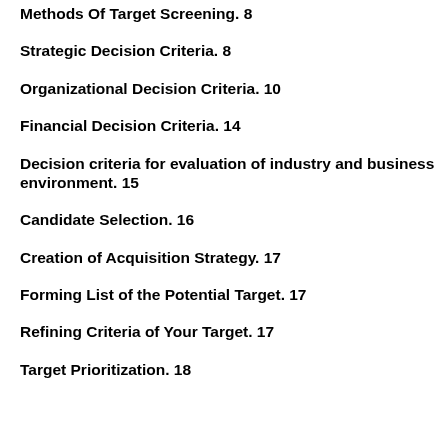Methods Of Target Screening. 8
Strategic Decision Criteria. 8
Organizational Decision Criteria. 10
Financial Decision Criteria. 14
Decision criteria for evaluation of industry and business environment. 15
Candidate Selection. 16
Creation of Acquisition Strategy. 17
Forming List of the Potential Target. 17
Refining Criteria of Your Target. 17
Target Prioritization. 18